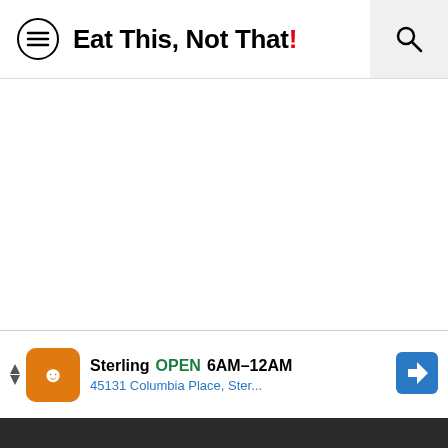Eat This, Not That!
[Figure (screenshot): White blank content area below the navigation bar]
Sterling  OPEN  6AM–12AM  45131 Columbia Place, Ster...